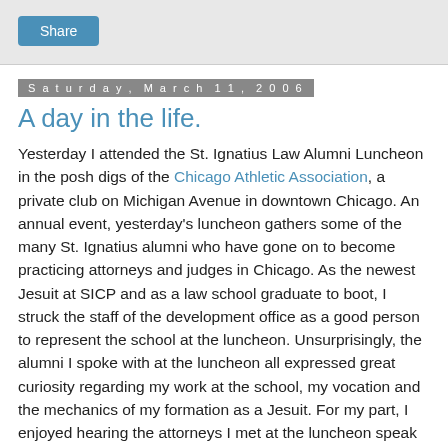Share
Saturday, March 11, 2006
A day in the life.
Yesterday I attended the St. Ignatius Law Alumni Luncheon in the posh digs of the Chicago Athletic Association, a private club on Michigan Avenue in downtown Chicago. An annual event, yesterday's luncheon gathers some of the many St. Ignatius alumni who have gone on to become practicing attorneys and judges in Chicago. As the newest Jesuit at SICP and as a law school graduate to boot, I struck the staff of the development office as a good person to represent the school at the luncheon. Unsurprisingly, the alumni I spoke with at the luncheon all expressed great curiosity regarding my work at the school, my vocation and the mechanics of my formation as a Jesuit. For my part, I enjoyed hearing the attorneys I met at the luncheon speak about how their experience of Jesuit education had positively influenced the course of their personal and professional lives. I also